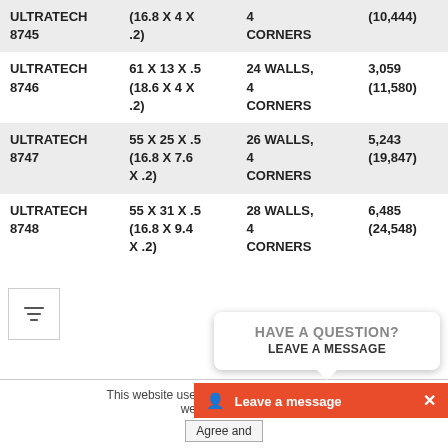| Product | Dimensions (in / m) | Walls/Corners | Weight lbs (kg) |
| --- | --- | --- | --- |
| ULTRATECH 8745 | (16.8 X 4 X .2) | 4 CORNERS | (10,444) |
| ULTRATECH 8746 | 61 X 13 X .5
(18.6 X 4 X .2) | 24 WALLS, 4 CORNERS | 3,059
(11,580) |
| ULTRATECH 8747 | 55 X 25 X .5
(16.8 X 7.6 X .2) | 26 WALLS, 4 CORNERS | 5,243
(19,847) |
| ULTRATECH 8748 | 55 X 31 X .5
(16.8 X 9.4 X .2) | 28 WALLS, 4 CORNERS | 6,485
(24,548) |
This website uses cookies to ensure you get the best experience on our website. Privacy Policy